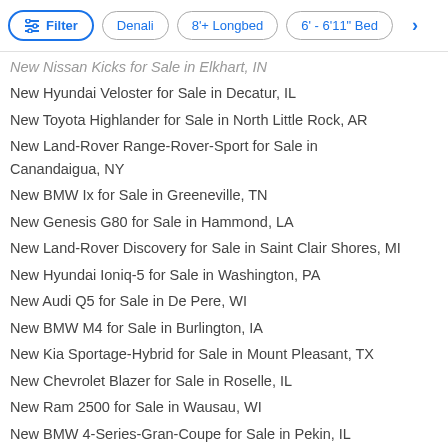Filter | Denali | 8'+ Longbed | 6' - 6'11" Bed | >
New Nissan Kicks for Sale in Elkhart, IN
New Hyundai Veloster for Sale in Decatur, IL
New Toyota Highlander for Sale in North Little Rock, AR
New Land-Rover Range-Rover-Sport for Sale in Canandaigua, NY
New BMW Ix for Sale in Greeneville, TN
New Genesis G80 for Sale in Hammond, LA
New Land-Rover Discovery for Sale in Saint Clair Shores, MI
New Hyundai Ioniq-5 for Sale in Washington, PA
New Audi Q5 for Sale in De Pere, WI
New BMW M4 for Sale in Burlington, IA
New Kia Sportage-Hybrid for Sale in Mount Pleasant, TX
New Chevrolet Blazer for Sale in Roselle, IL
New Ram 2500 for Sale in Wausau, WI
New BMW 4-Series-Gran-Coupe for Sale in Pekin, IL
New Chevrolet Equinox for Sale in Campbellsville, KY
Used Cadillac XT6 in Lima, OH